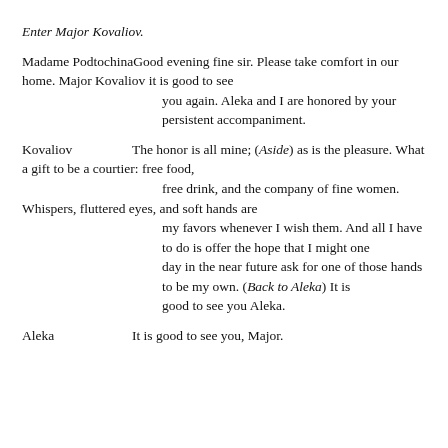Enter Major Kovaliov.
Madame Podtochina    Good evening fine sir.  Please take comfort in our home.  Major Kovaliov it is good to see you again.  Aleka and I are honored by your persistent accompaniment.
Kovaliov    The honor is all mine; (Aside) as is the pleasure. What a gift to be a courtier: free food, free drink, and the company of fine women. Whispers, fluttered eyes, and soft hands are my favors whenever I wish them.  And all I have to do is offer the hope that I might one day in the near future ask for one of those hands to be my own. (Back to Aleka)  It is good to see you Aleka.
Aleka    It is good to see you, Major.